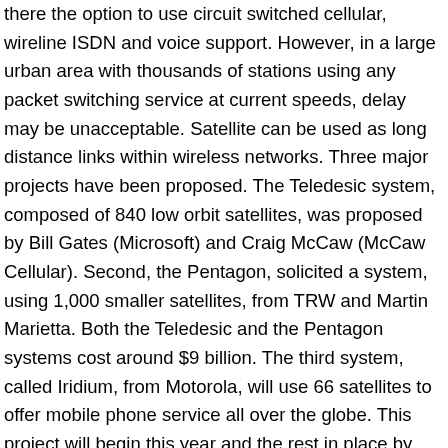there the option to use circuit switched cellular, wireline ISDN and voice support. However, in a large urban area with thousands of stations using any packet switching service at current speeds, delay may be unacceptable. Satellite can be used as long distance links within wireless networks. Three major projects have been proposed. The Teledesic system, composed of 840 low orbit satellites, was proposed by Bill Gates (Microsoft) and Craig McCaw (McCaw Cellular). Second, the Pentagon, solicited a system, using 1,000 smaller satellites, from TRW and Martin Marietta. Both the Teledesic and the Pentagon systems cost around $9 billion. The third system, called Iridium, from Motorola, will use 66 satellites to offer mobile phone service all over the globe. This project will begin this year and the rest in place by 1996. 6 Software Software concerns in a wireless computing environment can be broken into two groups: user applications 7 Content